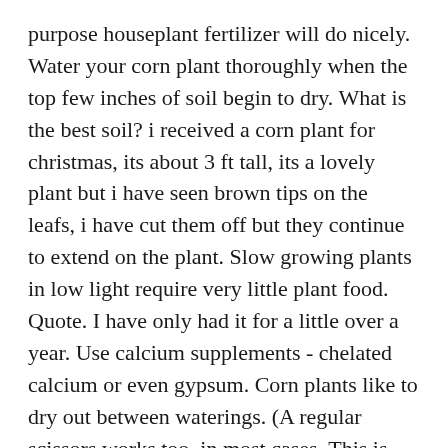purpose houseplant fertilizer will do nicely. Water your corn plant thoroughly when the top few inches of soil begin to dry. What is the best soil? i received a corn plant for christmas, its about 3 ft tall, its a lovely plant but i have seen brown tips on the leafs, i have cut them off but they continue to extend on the plant. Slow growing plants in low light require very little plant food. Quote. I have only had it for a little over a year. Use calcium supplements - chelated calcium or even gypsum. Corn plants like to dry out between waterings. (A regular scissors works too, in most cases. This is often the caused when corn plant is placed in a bright window where the light can concentrate on one or more of the leaves. The pot is a bit small for it's size perhaps. This dracaena is especially popular